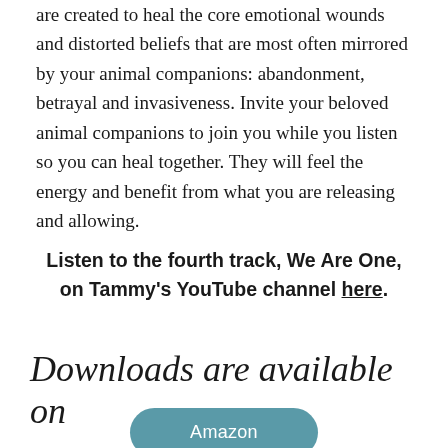are created to heal the core emotional wounds and distorted beliefs that are most often mirrored by your animal companions: abandonment, betrayal and invasiveness. Invite your beloved animal companions to join you while you listen so you can heal together. They will feel the energy and benefit from what you are releasing and allowing.
Listen to the fourth track, We Are One, on Tammy's YouTube channel here.
Downloads are available on
Amazon